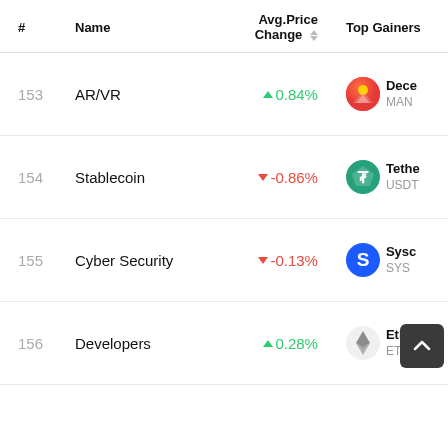| # | Name | Avg. Price Change ▲▼ | Top Gainers |
| --- | --- | --- | --- |
| 153 | AR/VR | ▲0.84% | Dece… / MANA |
| 154 | Stablecoin | ▼-0.86% | Tethe… / USDT |
| 155 | Cyber Security | ▼-0.13% | Sysc… / SYS |
| 156 | Developers | ▲0.28% | Ether… / ETH |